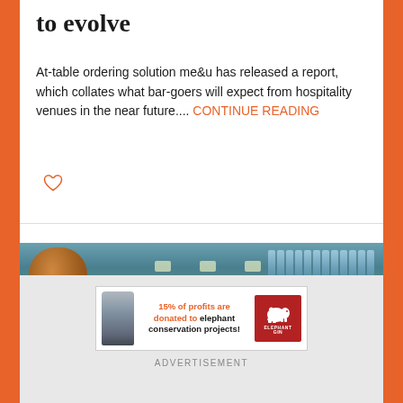to evolve
At-table ordering solution me&u has released a report, which collates what bar-goers will expect from hospitality venues in the near future.... CONTINUE READING
[Figure (photo): Interior of a bar with copper distillery equipment, overhead lighting, and two people standing at the bar counter.]
[Figure (infographic): Elephant Gin advertisement banner: '15% of profits are donated to elephant conservation projects!' with gin bottle image and red Elephant Gin logo.]
ADVERTISEMENT